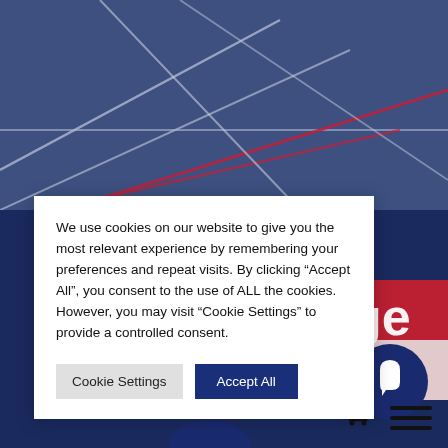[Figure (screenshot): Background image of a blue sports court (table tennis or similar) with white and red lines, viewed from an angle. Behind the cookie modal dialog, partial red/white banner and dark blue background visible on the right side.]
We use cookies on our website to give you the most relevant experience by remembering your preferences and repeat visits. By clicking “Accept All”, you consent to the use of ALL the cookies. However, you may visit “Cookie Settings” to provide a controlled consent.
Cookie Settings
Accept All